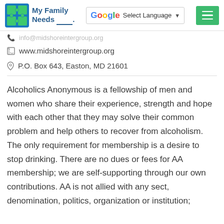My Family Needs _____.
info@midshoreintergroup.org
www.midshoreintergroup.org
P.O. Box 643, Easton, MD 21601
Alcoholics Anonymous is a fellowship of men and women who share their experience, strength and hope with each other that they may solve their common problem and help others to recover from alcoholism. The only requirement for membership is a desire to stop drinking. There are no dues or fees for AA membership; we are self-supporting through our own contributions. AA is not allied with any sect, denomination, politics, organization or institution;